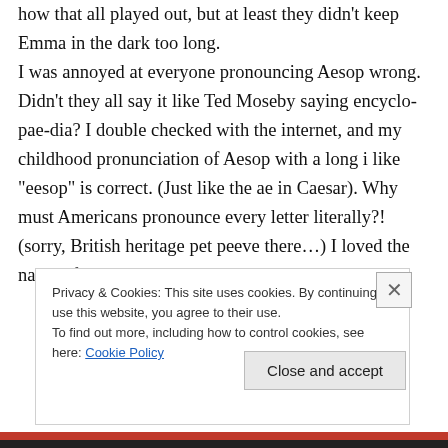how that all played out, but at least they didn't keep Emma in the dark too long. I was annoyed at everyone pronouncing Aesop wrong. Didn't they all say it like Ted Moseby saying encyclo-pae-dia? I double checked with the internet, and my childhood pronunciation of Aesop with a long i like "eesop" is correct. (Just like the ae in Caesar). Why must Americans pronounce every letter literally?! (sorry, British heritage pet peeve there…) I loved the name of the new pub, but laughed when someone on
Privacy & Cookies: This site uses cookies. By continuing to use this website, you agree to their use.
To find out more, including how to control cookies, see here: Cookie Policy